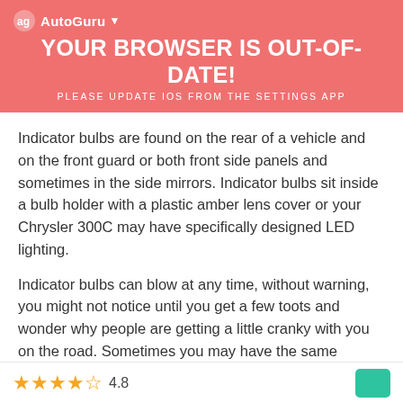YOUR BROWSER IS OUT-OF-DATE! PLEASE UPDATE IOS FROM THE SETTINGS APP
Indicator bulbs are found on the rear of a vehicle and on the front guard or both front side panels and sometimes in the side mirrors. Indicator bulbs sit inside a bulb holder with a plastic amber lens cover or your Chrysler 300C may have specifically designed LED lighting.
Indicator bulbs can blow at any time, without warning, you might not notice until you get a few toots and wonder why people are getting a little cranky with you on the road. Sometimes you may have the same indicator light that keeps blowing. When this happens there may be a loose
4.8